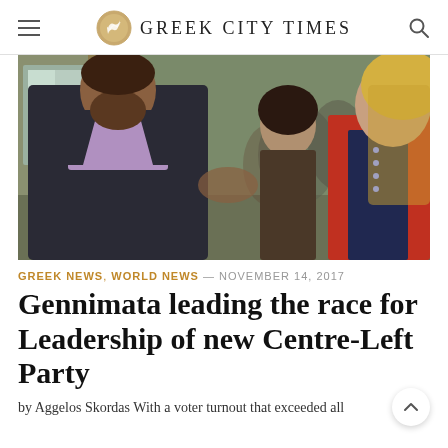GREEK CITY TIMES
[Figure (photo): Two people shaking hands at an event, with a woman in a red blazer on the right smiling, and a man in a dark suit with beard on the left, with a woman visible in the background.]
GREEK NEWS, WORLD NEWS — NOVEMBER 14, 2017
Gennimata leading the race for Leadership of new Centre-Left Party
by Aggelos Skordas With a voter turnout that exceeded all